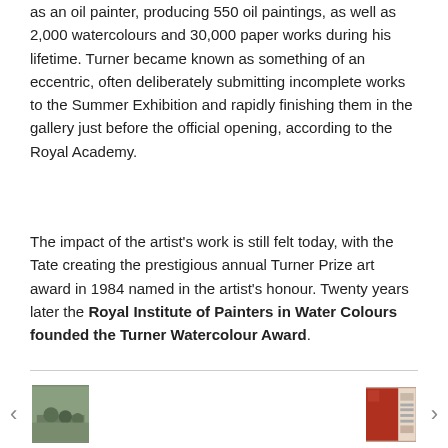as an oil painter, producing 550 oil paintings, as well as 2,000 watercolours and 30,000 paper works during his lifetime. Turner became known as something of an eccentric, often deliberately submitting incomplete works to the Summer Exhibition and rapidly finishing them in the gallery just before the official opening, according to the Royal Academy.
The impact of the artist's work is still felt today, with the Tate creating the prestigious annual Turner Prize art award in 1984 named in the artist's honour. Twenty years later the Royal Institute of Painters in Water Colours founded the Turner Watercolour Award.
[Figure (photo): Left thumbnail showing a group of people in a room]
[Figure (photo): Right thumbnail showing a magazine or poster cover with red imagery]